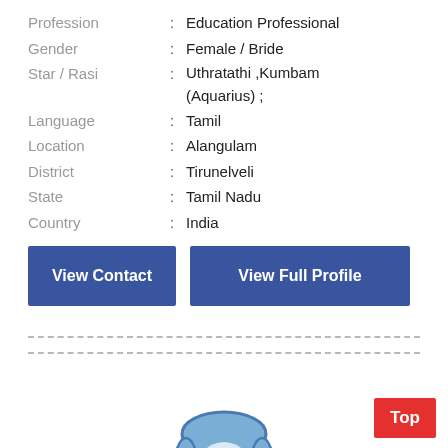Profession : Education Professional
Gender : Female / Bride
Star / Rasi : Uthratathi ,Kumbam (Aquarius) ;
Language : Tamil
Location : Alangulam
District : Tirunelveli
State : Tamil Nadu
Country : India
View Contact
View Full Profile
[Figure (illustration): Female avatar/silhouette placeholder icon in light blue outline style]
Top